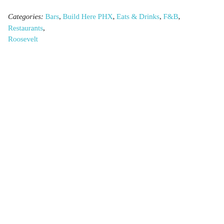Categories: Bars, Build Here PHX, Eats & Drinks, F&B, Restaurants, Roosevelt